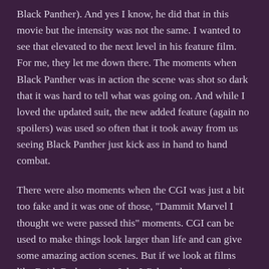Black Panther). And yes I know, he did that in this movie but the intensity was not the same. I wanted to see that elevated to the next level in his feature film. For me, they let me down there. The moments when Black Panther was in action the scene was shot so dark that it was hard to tell what was going on. And while I loved the updated suit, the new added feature (again no spoilers) was used so often that it took away from us seeing Black Panther just kick ass in hand to hand combat.
There were also moments when the CGI was just a bit too fake and it was one of those, "Dammit Marvel I thought we were passed this" moments. CGI can be used to make things look larger than life and can give some amazing action scenes. But if we look at films like Raid: Redemption, John Wick, and even certain scenes in Civil War we see that it is possible to have fight scenes without a bunch of jump cuts, and CGI and can still get some memorable action.
Overall Rating: